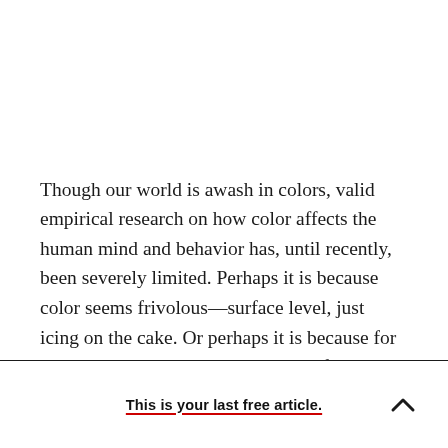Though our world is awash in colors, valid empirical research on how color affects the human mind and behavior has, until recently, been severely limited. Perhaps it is because color seems frivolous—surface level, just icing on the cake. Or perhaps it is because for years scientists thought color best left to the poets. Either way, as a result,
This is your last free article.